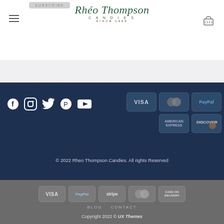[Figure (logo): Rhéo Thompson Candies logo with script font, CANDIES and SINCE 1969 text]
[Figure (infographic): Social media icons: Facebook, Instagram, Twitter, Pinterest, YouTube]
[Figure (infographic): Payment method icons: VISA, MasterCard, PayPal, American Express, Discover]
© 2022 Rheo Thompson Candies. All rights reserved
[Figure (infographic): Payment icons in gray section: VISA, PayPal, stripe, MasterCard, CASH ON DELIVERY]
BLOG  CONTACT
Copyright 2022 © UX Themes